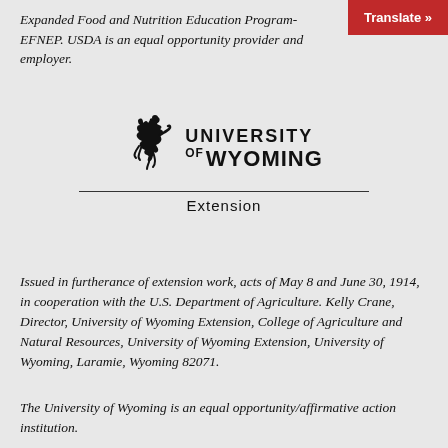Expanded Food and Nutrition Education Program-EFNEP. USDA is an equal opportunity provider and employer.
[Figure (logo): University of Wyoming Extension logo with bucking horse and rider silhouette]
Issued in furtherance of extension work, acts of May 8 and June 30, 1914, in cooperation with the U.S. Department of Agriculture. Kelly Crane, Director, University of Wyoming Extension, College of Agriculture and Natural Resources, University of Wyoming Extension, University of Wyoming, Laramie, Wyoming 82071.
The University of Wyoming is an equal opportunity/affirmative action institution.